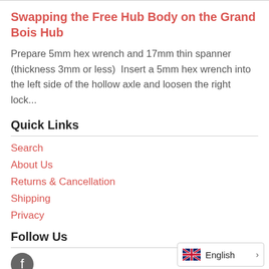Swapping the Free Hub Body on the Grand Bois Hub
Prepare 5mm hex wrench and 17mm thin spanner (thickness 3mm or less)  Insert a 5mm hex wrench into the left side of the hollow axle and loosen the right lock...
Quick Links
Search
About Us
Returns & Cancellation
Shipping
Privacy
Follow Us
English